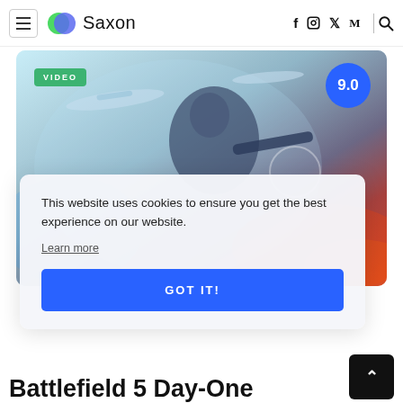Saxon
[Figure (screenshot): Battlefield 5 game artwork showing a soldier with a weapon, military aircraft in background, blue and red color palette. Overlaid with VIDEO badge (green) and score 9.0 (blue circle).]
This website uses cookies to ensure you get the best experience on our website.
Learn more
GOT IT!
Battlefield 5 Day-One